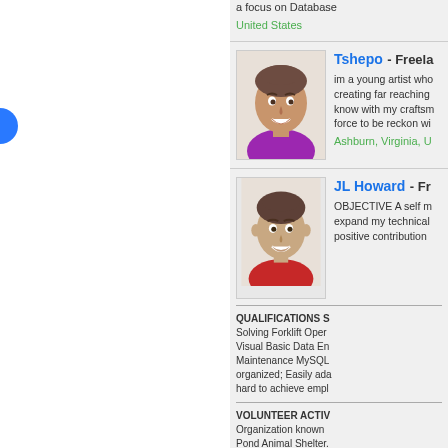a focus on Database
United States
Tshepo - Freela...
im a young artist who creating far reaching know with my craftsm force to be reckon wi
Ashburn, Virginia, U...
JL Howard - Fr...
OBJECTIVE A self m expand my technical positive contribution
QUALIFICATIONS S Solving Forklift Oper Visual Basic Data En Maintenance MySQL organized; Easily ada hard to achieve empl
VOLUNTEER ACTIV Organization known Pond Animal Shelter.
EDUCATION ITT Tec Technology Degree